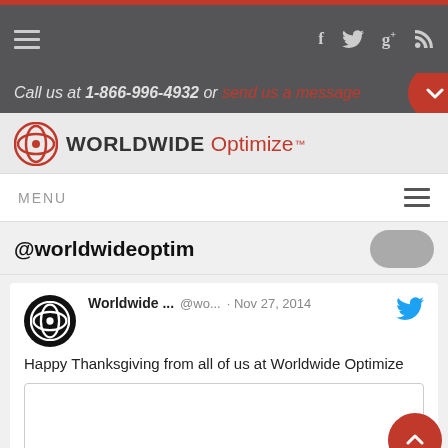Call us at 1-866-996-4932 or send us a message
[Figure (logo): Worldwide Optimize logo with icon and text]
MENU
@worldwideoptim
Worldwide ... @wo... · Nov 27, 2014
Happy Thanksgiving from all of us at Worldwide Optimize